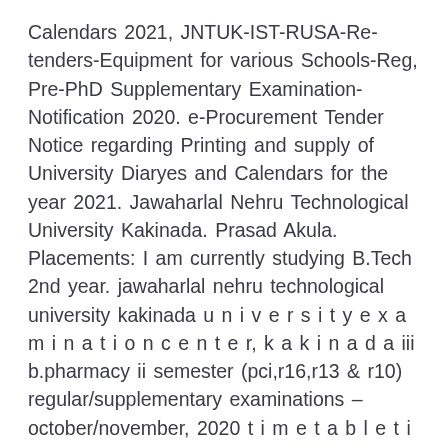Calendars 2021, JNTUK-IST-RUSA-Re-tenders-Equipment for various Schools-Reg, Pre-PhD Supplementary Examination-Notification 2020. e-Procurement Tender Notice regarding Printing and supply of University Diaryes and Calendars for the year 2021. Jawaharlal Nehru Technological University Kakinada. Prasad Akula. Placements: I am currently studying B.Tech 2nd year. jawaharlal nehru technological university kakinada u n i v e r s i t y e x a m i n a t i o n c e n t e r, k a k i n a d a iii b.pharmacy ii semester (pci,r16,r13 & r10) regular/supplementary examinations – october/november, 2020 t i m e t a b l e t i m e : 10.00 am to 01.00 … The University has been accredited by the NAAC of University Grants Commission (UGC) with A Grade. JNTUK Techno Fair – A Platform to showcase the products, ideas and creations of students/faculty/industry personnel on 27th &